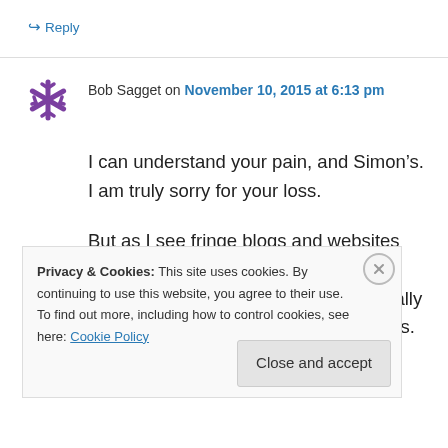↳ Reply
Bob Sagget on November 10, 2015 at 6:13 pm
I can understand your pain, and Simon's. I am truly sorry for your loss.

But as I see fringe blogs and websites presenting this as a journalist “coming clean” about a “profession systematically lying”, I most make note of some things. Especially your
Privacy & Cookies: This site uses cookies. By continuing to use this website, you agree to their use.
To find out more, including how to control cookies, see here: Cookie Policy
Close and accept